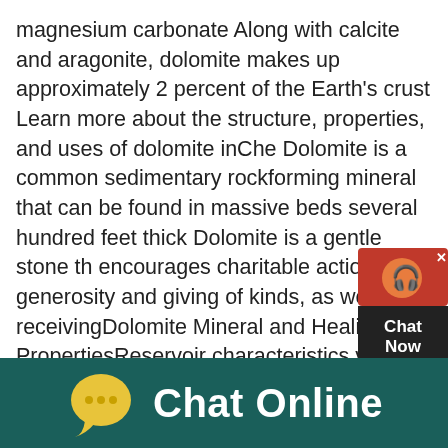magnesium carbonate Along with calcite and aragonite, dolomite makes up approximately 2 percent of the Earth's crust Learn more about the structure, properties, and uses of dolomite inChe Dolomite is a common sedimentary rockforming mineral that can be found in massive beds several hundred feet thick Dolomite is a gentle stone th encourages charitable actions, generosity and giving of kinds, as well as receivingDolomite Mineral and Healing PropertiesReservoir characteristics vary greatly from one dolomite type to another depending upon the original sediment fabric, the mechanism by which dolomite was formed, and the extent to which early formed dolomite was modified by postdolomitization diagenetic processes (eg, karstification, fracturing, and burial corrosion)Dolomite reservoirs: Porosity evolution and reservoir
[Figure (other): Chat widget overlay with red top section (headset icon and X close button) and dark bottom section with 'Chat Now' text]
[Figure (other): Chat Online banner at the bottom with a yellow speech bubble icon and white 'Chat Online' text on dark teal background]